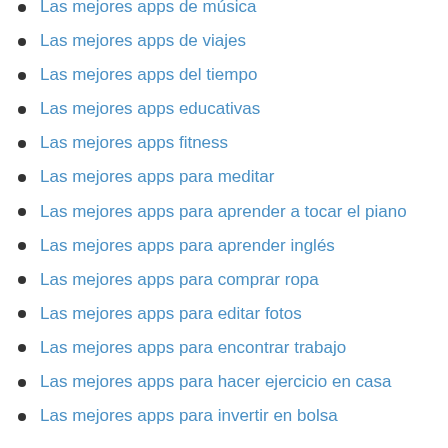Las mejores apps de música
Las mejores apps de viajes
Las mejores apps del tiempo
Las mejores apps educativas
Las mejores apps fitness
Las mejores apps para meditar
Las mejores apps para aprender a tocar el piano
Las mejores apps para aprender inglés
Las mejores apps para comprar ropa
Las mejores apps para editar fotos
Las mejores apps para encontrar trabajo
Las mejores apps para hacer ejercicio en casa
Las mejores apps para invertir en bolsa